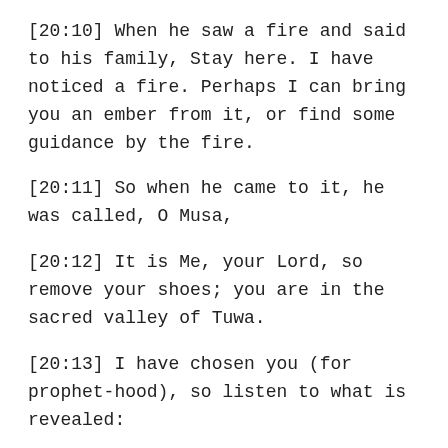[20:10] When he saw a fire and said to his family, Stay here. I have noticed a fire. Perhaps I can bring you an ember from it, or find some guidance by the fire.
[20:11] So when he came to it, he was called, O Musa,
[20:12] It is Me, your Lord, so remove your shoes; you are in the sacred valley of Tuwa.
[20:13] I have chosen you (for prophet-hood), so listen to what is revealed:
[20:14] Surely, I AM ALLAH. There is no god but Myself, so worship Me, and establish